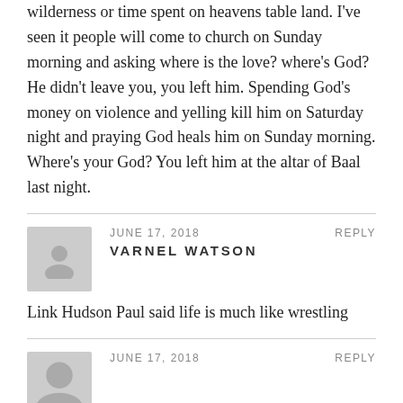wilderness or time spent on heavens table land. I've seen it people will come to church on Sunday morning and asking where is the love? where's God? He didn't leave you, you left him. Spending God's money on violence and yelling kill him on Saturday night and praying God heals him on Sunday morning. Where's your God? You left him at the altar of Baal last night.
JUNE 17, 2018   REPLY
VARNEL WATSON
Link Hudson Paul said life is much like wrestling
JUNE 17, 2018   REPLY